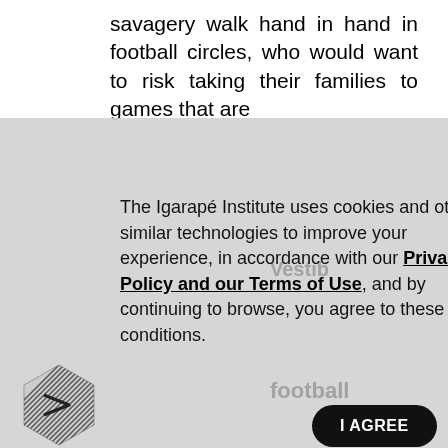savagery walk hand in hand in football circles, who would want to risk taking their families to games that are
The Igarapé Institute uses cookies and other similar technologies to improve your experience, in accordance with our Privacy Policy and our Terms of Use, and by continuing to browse, you agree to these conditions.
[Figure (logo): Igarapé Institute logo — geometric hexagonal shape made of parallel diagonal lines forming a leaf/chevron pattern]
I AGREE